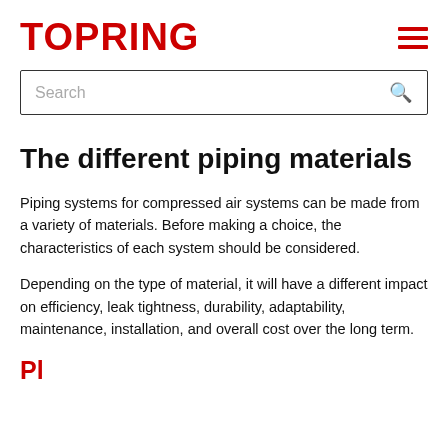TOPRING
[Figure (other): Hamburger menu icon with three horizontal red lines]
[Figure (other): Search bar with placeholder text 'Search' and magnifying glass icon]
The different piping materials
Piping systems for compressed air systems can be made from a variety of materials. Before making a choice, the characteristics of each system should be considered.
Depending on the type of material, it will have a different impact on efficiency, leak tightness, durability, adaptability, maintenance, installation, and overall cost over the long term.
Pl...